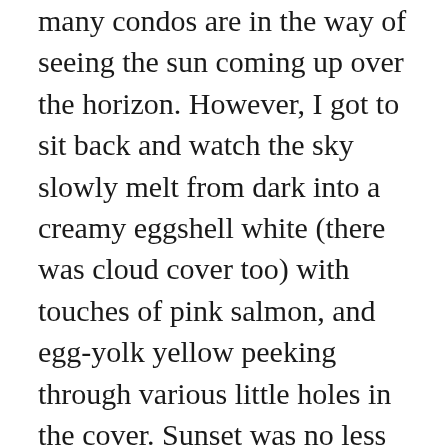many condos are in the way of seeing the sun coming up over the horizon. However, I got to sit back and watch the sky slowly melt from dark into a creamy eggshell white (there was cloud cover too) with touches of pink salmon, and egg-yolk yellow peeking through various little holes in the cover. Sunset was no less spectacular. In Texas, I am used to seeing a dark, blood-orange blob slowly drop beneath the western horizon. However, while at Epcot and headed back to the car, we watched the bright-yellow, hazy blob dip down behind the tree-line